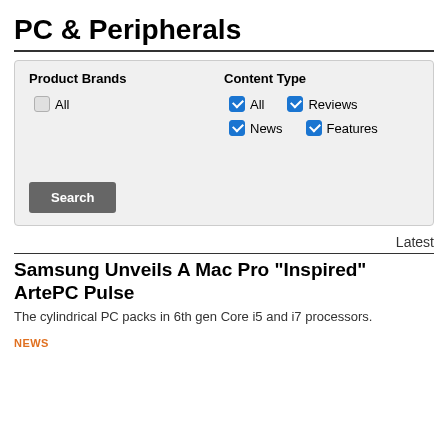PC & Peripherals
[Figure (screenshot): Filter panel with Product Brands and Content Type checkboxes, and a Search button. Product Brands: All (unchecked). Content Type: All (checked), Reviews (checked), News (checked), Features (checked).]
Latest
Samsung Unveils A Mac Pro "Inspired" ArtePC Pulse
The cylindrical PC packs in 6th gen Core i5 and i7 processors.
NEWS